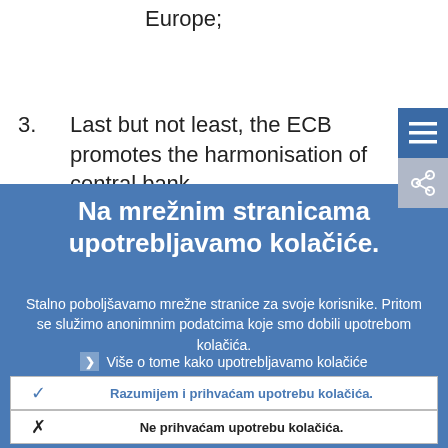Europe;
3. Last but not least, the ECB promotes the harmonisation of central bank
Na mrežnim stranicama upotrebljavamo kolačiće.
Stalno poboljšavamo mrežne stranice za svoje korisnike. Pritom se služimo anonimnim podatcima koje smo dobili upotrebom kolačića.
Više o tome kako upotrebljavamo kolačiće
Razumijem i prihvaćam upotrebu kolačića.
Ne prihvaćam upotrebu kolačića.